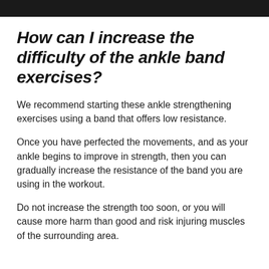How can I increase the difficulty of the ankle band exercises?
We recommend starting these ankle strengthening exercises using a band that offers low resistance.
Once you have perfected the movements, and as your ankle begins to improve in strength, then you can gradually increase the resistance of the band you are using in the workout.
Do not increase the strength too soon, or you will cause more harm than good and risk injuring muscles of the surrounding area.